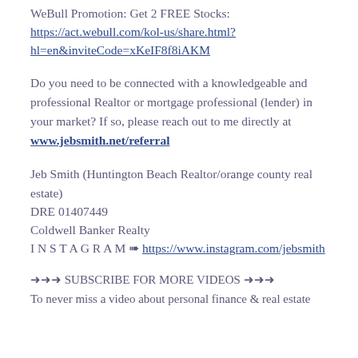WeBull Promotion: Get 2 FREE Stocks: https://act.webull.com/kol-us/share.html?hl=en&inviteCode=xKeIF8f8iAKM
Do you need to be connected with a knowledgeable and professional Realtor or mortgage professional (lender) in your market? If so, please reach out to me directly at www.jebsmith.net/referral
Jeb Smith (Huntington Beach Realtor/orange county real estate)
DRE 01407449
Coldwell Banker Realty
INSTAGRAM ➠ https://www.instagram.com/jebsmith
➜➜➜ SUBSCRIBE FOR MORE VIDEOS ➜➜➜
To never miss a video about personal finance & real estate